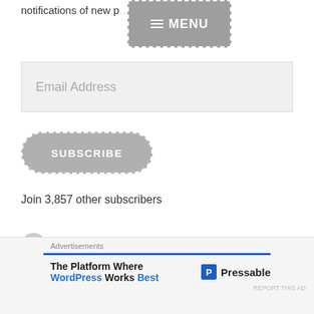notifications of new p…
[Figure (screenshot): Gray MENU button with hamburger icon and dashed white border overlay]
Email Address
[Figure (other): SUBSCRIBE button — gray rounded rectangle with dashed white border]
Join 3,857 other subscribers
Buy Me A Coffee :)
[Figure (other): Buy Me a Ko-fi red button with Ko-fi cup logo]
[Figure (other): Close (X) circle button]
Advertisements
[Figure (other): Pressable advertisement: The Platform Where WordPress Works Best — Pressable logo]